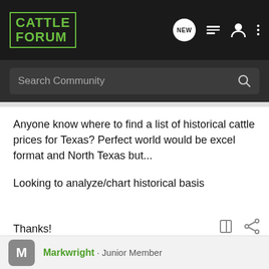CATTLE FORUM
Search Community
Anyone know where to find a list of historical cattle prices for Texas? Perfect world would be excel format and North Texas but...
Looking to analyze/chart historical basis
Thanks!
Markwright · Junior Member